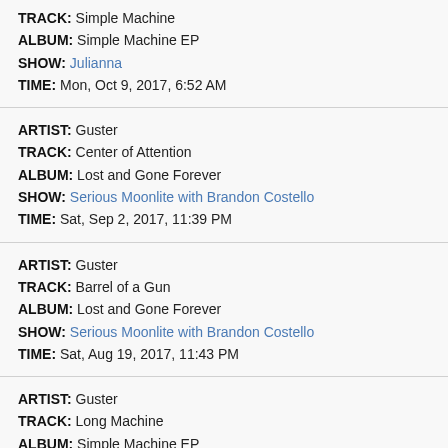TRACK: Simple Machine
ALBUM: Simple Machine EP
SHOW: Julianna
TIME: Mon, Oct 9, 2017, 6:52 AM
ARTIST: Guster
TRACK: Center of Attention
ALBUM: Lost and Gone Forever
SHOW: Serious Moonlite with Brandon Costello
TIME: Sat, Sep 2, 2017, 11:39 PM
ARTIST: Guster
TRACK: Barrel of a Gun
ALBUM: Lost and Gone Forever
SHOW: Serious Moonlite with Brandon Costello
TIME: Sat, Aug 19, 2017, 11:43 PM
ARTIST: Guster
TRACK: Long Machine
ALBUM: Simple Machine EP
SHOW: Naminex
TIME: Mon, May 8, 2017, 11:38 AM